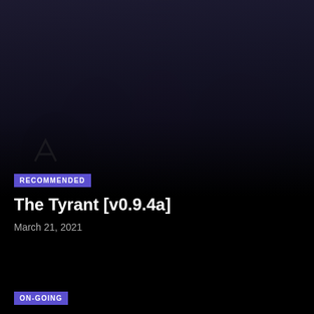[Figure (photo): Dark-toned promotional image showing several people in a dimly lit scene, partially visible at the top of the page.]
RECOMMENDED
The Tyrant [v0.9.4a]
March 21, 2021
ON-GOING